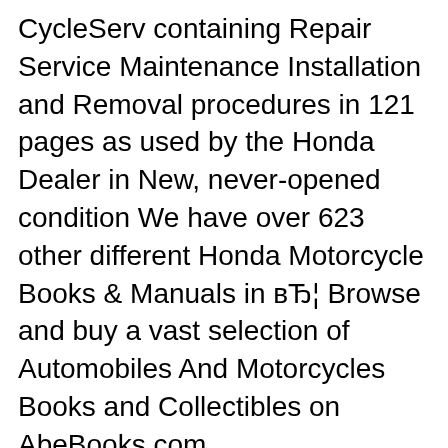CycleServ containing Repair Service Maintenance Installation and Removal procedures in 121 pages as used by the Honda Dealer in New, never-opened condition We have over 623 other different Honda Motorcycle Books & Manuals in вЂ¦ Browse and buy a vast selection of Automobiles And Motorcycles Books and Collectibles on AbeBooks.com.
Honda CB450 CL450 Motorcycle Service & Repair Manual 1968-1975.pdf download at 2shared. Click on document Honda CB450 CL450 Motorcycle Service & Repair Manual 1968-1975.pdf to start downloading. 2shared - Online file upload - unlimited